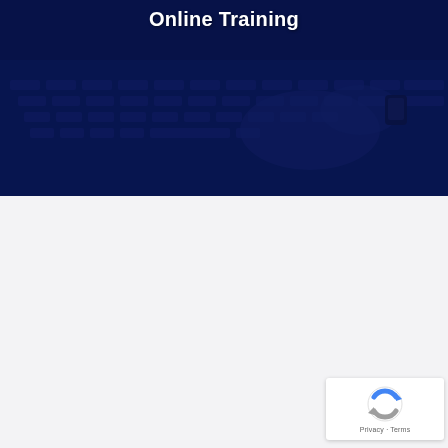[Figure (photo): Person typing on a laptop with a smartwatch visible on wrist, overlaid with a dark navy blue tint. 'Online Training' text appears as a title over the image.]
Online Training
[Figure (other): Google reCAPTCHA widget showing circular arrow icon with Privacy and Terms links]